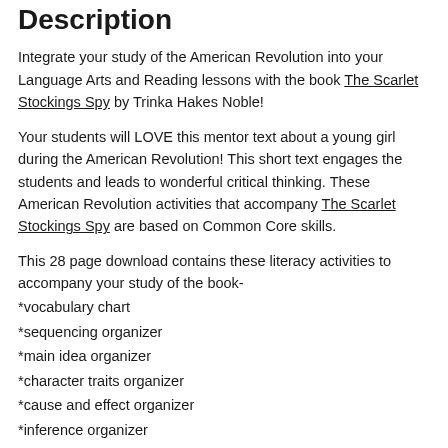Description
Integrate your study of the American Revolution into your Language Arts and Reading lessons with the book The Scarlet Stockings Spy by Trinka Hakes Noble!
Your students will LOVE this mentor text about a young girl during the American Revolution! This short text engages the students and leads to wonderful critical thinking. These American Revolution activities that accompany The Scarlet Stockings Spy are based on Common Core skills.
This 28 page download contains these literacy activities to accompany your study of the book-
*vocabulary chart
*sequencing organizer
*main idea organizer
*character traits organizer
*cause and effect organizer
*inference organizer
Show more